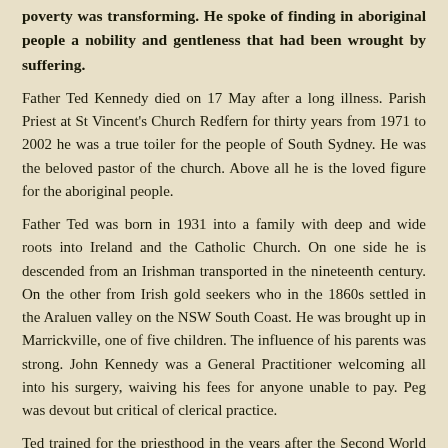poverty was transforming. He spoke of finding in aboriginal people a nobility and gentleness that had been wrought by suffering.
Father Ted Kennedy died on 17 May after a long illness. Parish Priest at St Vincent's Church Redfern for thirty years from 1971 to 2002 he was a true toiler for the people of South Sydney. He was the beloved pastor of the church. Above all he is the loved figure for the aboriginal people.
Father Ted was born in 1931 into a family with deep and wide roots into Ireland and the Catholic Church. On one side he is descended from an Irishman transported in the nineteenth century. On the other from Irish gold seekers who in the 1860s settled in the Araluen valley on the NSW South Coast. He was brought up in Marrickville, one of five children. The influence of his parents was strong. John Kennedy was a General Practitioner welcoming all into his surgery, waiving his fees for anyone unable to pay. Peg was devout but critical of clerical practice.
Ted trained for the priesthood in the years after the Second World War. His sharp and inquiring intelligence was evident in the keen interest he gave to his studies at the training seminary. It was evident in his ministry from his grasp of theology and biblical scholarship.
He was Chaplain at the University of Sydney from the late 1950s to 1965.